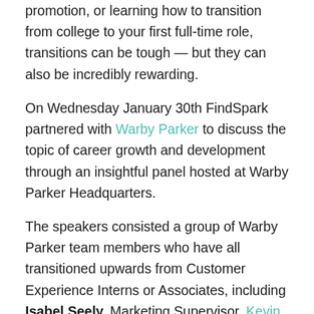promotion, or learning how to transition from college to your first full-time role, transitions can be tough — but they can also be incredibly rewarding.
On Wednesday January 30th FindSpark partnered with Warby Parker to discuss the topic of career growth and development through an insightful panel hosted at Warby Parker Headquarters.
The speakers consisted a group of Warby Parker team members who have all transitioned upwards from Customer Experience Interns or Associates, including Isabel Seely, Marketing Supervisor, Kevin Rath, Customer Experience Supervisor, Kaki Read, Executive Assistant and PR